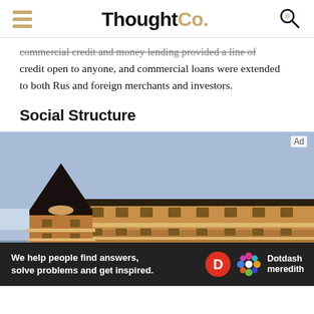ThoughtCo.
commercial credit and money lending provided a line of credit open to anyone, and commercial loans were extended to both Rus and foreign merchants and investors.
Social Structure
[Figure (photo): Exterior photograph of a historic multi-story wooden/brick building with a distinctive peaked black roof tower, under a blue sky, reflected in water below.]
We help people find answers, solve problems and get inspired. Dotdash meredith